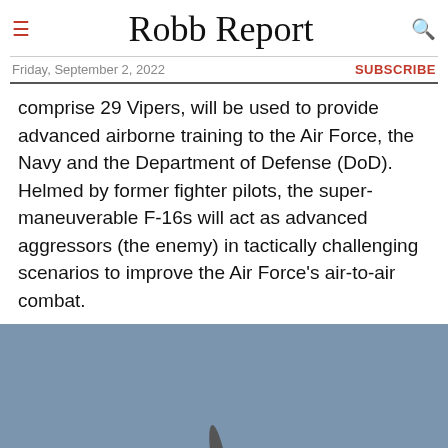Robb Report — Friday, September 2, 2022 — SUBSCRIBE
comprise 29 Vipers, will be used to provide advanced airborne training to the Air Force, the Navy and the Department of Defense (DoD). Helmed by former fighter pilots, the super-maneuverable F-16s will act as advanced aggressors (the enemy) in tactically challenging scenarios to improve the Air Force's air-to-air combat.
[Figure (photo): Blue sky background with the nose/cockpit of an F-16 fighter jet visible at the bottom center of the image, viewed from above at an angle.]